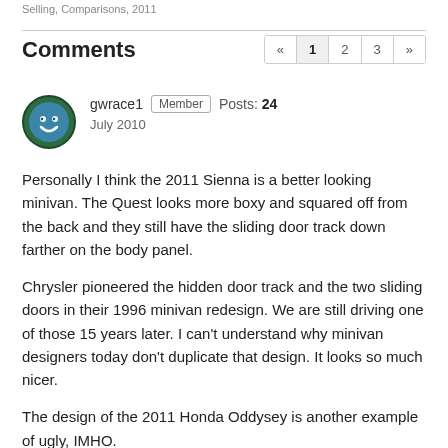Selling, Comparisons, 2011
Comments
« 1 2 3 »
gwrace1  Member  Posts: 24  July 2010
Personally I think the 2011 Sienna is a better looking minivan. The Quest looks more boxy and squared off from the back and they still have the sliding door track down farther on the body panel.

Chrysler pioneered the hidden door track and the two sliding doors in their 1996 minivan redesign. We are still driving one of those 15 years later. I can't understand why minivan designers today don't duplicate that design. It looks so much nicer.

The design of the 2011 Honda Oddysey is another example of ugly, IMHO.